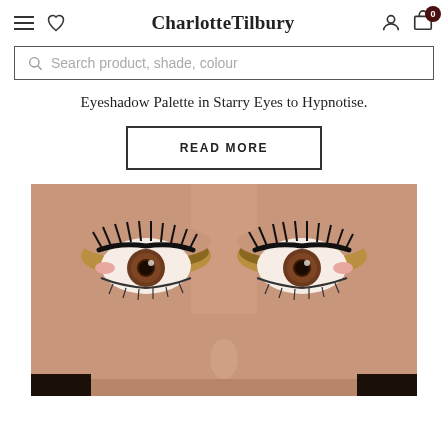Charlotte Tilbury
Search product, shade, colour
Eyeshadow Palette in Starry Eyes to Hypnotise.
READ MORE
[Figure (photo): Close-up photo of a woman's eyes with dramatic eye makeup — gold and bronze eyeshadow with heavy black eyeliner and voluminous lashes, brown irises, skin with warm tone filling the lower half of the image.]